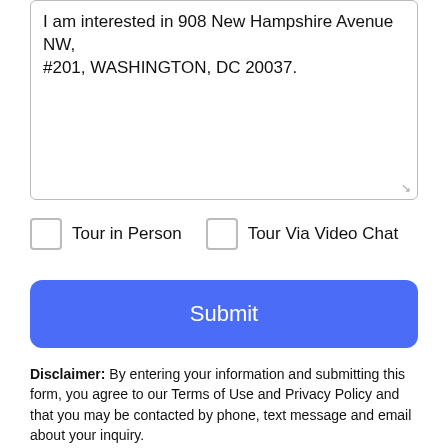I am interested in 908 New Hampshire Avenue  NW, #201, WASHINGTON, DC 20037.
Tour in Person
Tour Via Video Chat
Submit
Disclaimer: By entering your information and submitting this form, you agree to our Terms of Use and Privacy Policy and that you may be contacted by phone, text message and email about your inquiry.
©2022 Bright MLS, All Rights Reserved. IDX information is provided exclusively for consumers' personal, non-commercial use and may not be used for any purpose other than to identify prospective properties consumers may be interested in purchasing.
Take a Tour
Ask A Question